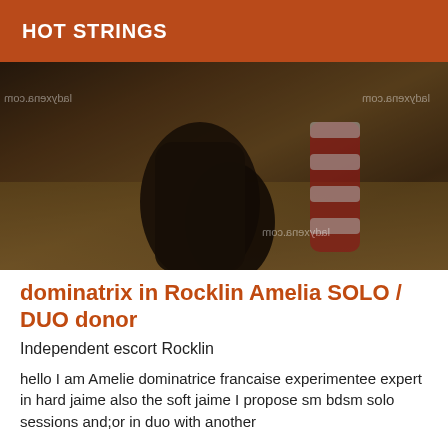HOT STRINGS
[Figure (photo): Dark photograph showing boots and red-and-white striped stockings on a wooden floor, with watermark text 'ladyxena.com' mirrored in three positions]
dominatrix in Rocklin Amelia SOLO / DUO donor
Independent escort Rocklin
hello I am Amelie dominatrice francaise experimentee expert in hard jaime also the soft jaime I propose sm bdsm solo sessions and;or in duo with another